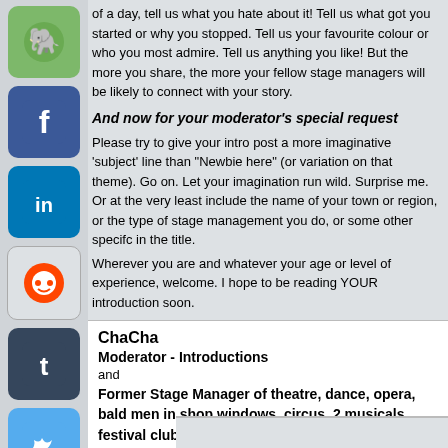of a day, tell us what you hate about it! Tell us what got you started or why you stopped. Tell us your favourite colour or who you most admire. Tell us anything you like! But the more you share, the more your fellow stage managers will be likely to connect with your story.
And now for your moderator's special request
Please try to give your intro post a more imaginative 'subject' line than "Newbie here" (or variation on that theme). Go on. Let your imagination run wild. Surprise me. Or at the very least include the name of your town or region, or the type of stage management you do, or some other specifc in the title.
Wherever you are and whatever your age or level of experience, welcome. I hope to be reading YOUR introduction soon.
ChaCha
Moderator - Introductions
and
Former Stage Manager of theatre, dance, opera, bald men in shop windows, circus, 2 musicals, festival clubs, puppetry, and a strange show on a bus, now turned not for profit producer working with independent theatre and dance artists in Australia ( see its not that hard to write about yourself ) .
« Last Edit: May 25, 2009, 11:39 am by ChaCha »
Logged